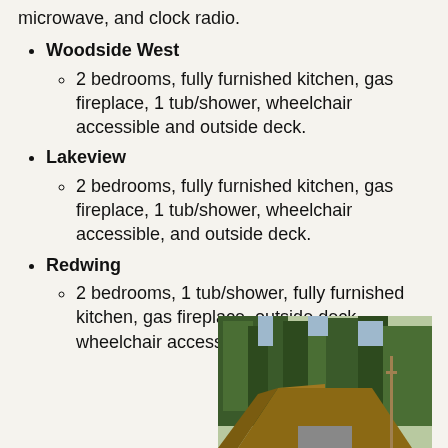microwave, and clock radio.
Woodside West
2 bedrooms, fully furnished kitchen, gas fireplace, 1 tub/shower, wheelchair accessible and outside deck.
Lakeview
2 bedrooms, fully furnished kitchen, gas fireplace, 1 tub/shower, wheelchair accessible, and outside deck.
Redwing
2 bedrooms, 1 tub/shower, fully furnished kitchen, gas fireplace, outside deck, wheelchair accessible.
[Figure (photo): Exterior photo of a cabin or lodge with a brown roof surrounded by tall trees]